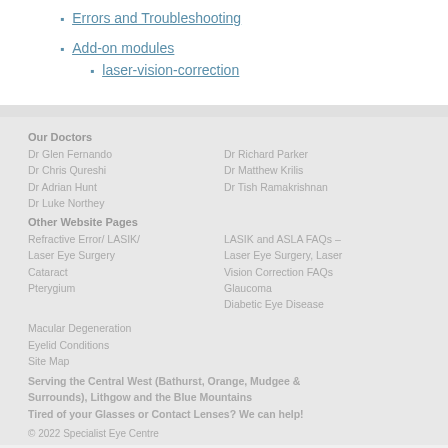Errors and Troubleshooting
Add-on modules
laser-vision-correction
Our Doctors
Dr Glen Fernando
Dr Chris Qureshi
Dr Adrian Hunt
Dr Luke Northey
Dr Richard Parker
Dr Matthew Krilis
Dr Tish Ramakrishnan
Other Website Pages
Refractive Error/ LASIK/
Laser Eye Surgery
Cataract
Pterygium
LASIK and ASLA FAQs –
Laser Eye Surgery, Laser
Vision Correction FAQs
Glaucoma
Diabetic Eye Disease
Macular Degeneration
Eyelid Conditions
Site Map
Serving the Central West (Bathurst, Orange, Mudgee & Surrounds), Lithgow and the Blue Mountains
Tired of your Glasses or Contact Lenses? We can help!
© 2022 Specialist Eye Centre